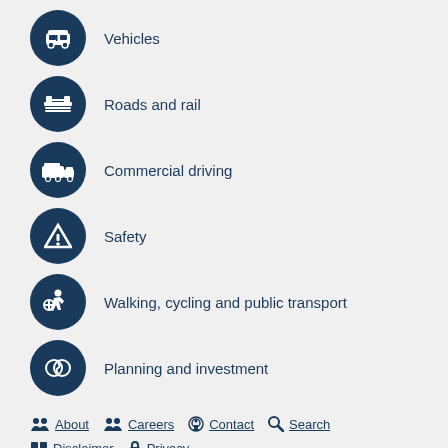Vehicles
Roads and rail
Commercial driving
Safety
Walking, cycling and public transport
Planning and investment
About  Careers  Contact  Search  Disclaimer  Privacy